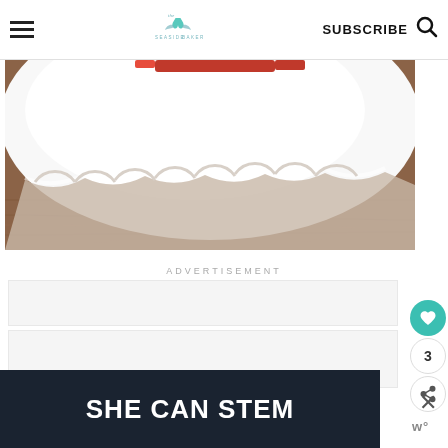The Seaside Baker — SUBSCRIBE
[Figure (photo): Close-up photo of a white ceramic dish or plate with decorative scalloped rim, sitting on a wooden surface, with red food item partially visible at top edge]
ADVERTISEMENT
[Figure (other): Advertisement placeholder boxes (gray/white rectangles)]
[Figure (other): Bottom advertisement banner with dark navy background reading SHE CAN STEM in large bold white text]